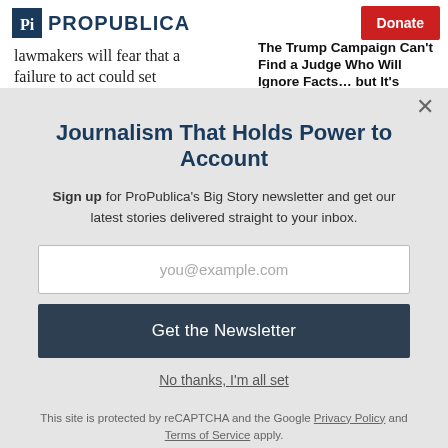ProPublica | Donate
lawmakers will fear that a failure to act could set
The Trump Campaign Can't Find a Judge Who Will Ignore Facts… but It's Trying
Journalism That Holds Power to Account
Sign up for ProPublica's Big Story newsletter and get our latest stories delivered straight to your inbox.
you@example.com
Get the Newsletter
No thanks, I'm all set
This site is protected by reCAPTCHA and the Google Privacy Policy and Terms of Service apply.